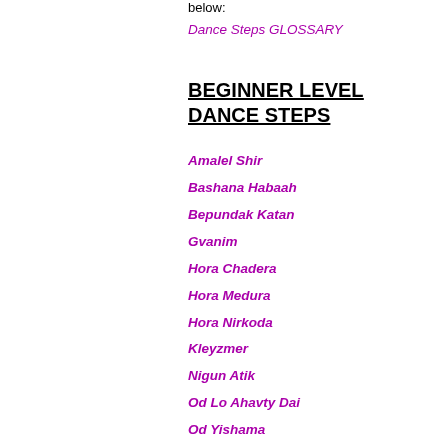below:
Dance Steps GLOSSARY
BEGINNER LEVEL DANCE STEPS
Amalel Shir
Bashana Habaah
Bepundak Katan
Gvanim
Hora Chadera
Hora Medura
Hora Nirkoda
Kleyzmer
Nigun Atik
Od Lo Ahavty Dai
Od Yishama
Sham Harei Golan
Sulum Yaakov